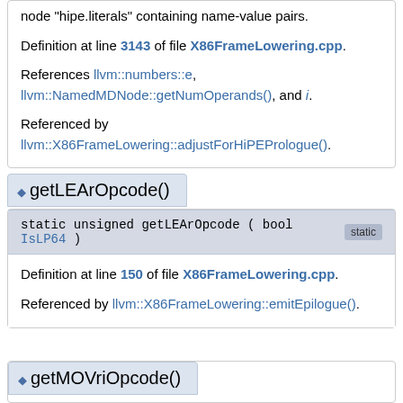node "hipe.literals" containing name-value pairs.
Definition at line 3143 of file X86FrameLowering.cpp.
References llvm::numbers::e, llvm::NamedMDNode::getNumOperands(), and i.
Referenced by llvm::X86FrameLowering::adjustForHiPEPrologue().
◆ getLEArOpcode()
static unsigned getLEArOpcode ( bool IsLP64 ) [static]
Definition at line 150 of file X86FrameLowering.cpp.
Referenced by llvm::X86FrameLowering::emitEpilogue().
◆ getMOVriOpcode()